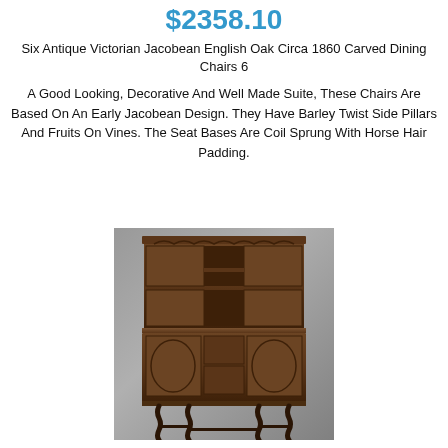$2358.10
Six Antique Victorian Jacobean English Oak Circa 1860 Carved Dining Chairs 6
A Good Looking, Decorative And Well Made Suite, These Chairs Are Based On An Early Jacobean Design. They Have Barley Twist Side Pillars And Fruits On Vines. The Seat Bases Are Coil Sprung With Horse Hair Padding.
[Figure (photo): Antique Victorian Jacobean English Oak dresser/cabinet with barley twist legs, upper open shelving section with decorative arched cornice, lower sideboard section with carved panel doors and drawers, displayed against a gradient grey background.]